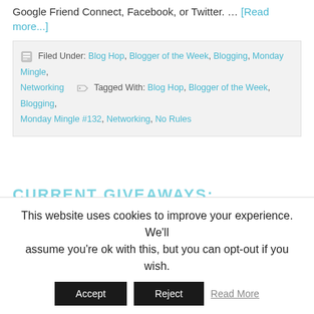Google Friend Connect, Facebook, or Twitter. … [Read more...]
Filed Under: Blog Hop, Blogger of the Week, Blogging, Monday Mingle, Networking  Tagged With: Blog Hop, Blogger of the Week, Blogging, Monday Mingle #132, Networking, No Rules
CURRENT GIVEAWAYS:
OFFICIAL SITE RULES
This website uses cookies to improve your experience. We'll assume you're ok with this, but you can opt-out if you wish.
Accept  Reject  Read More